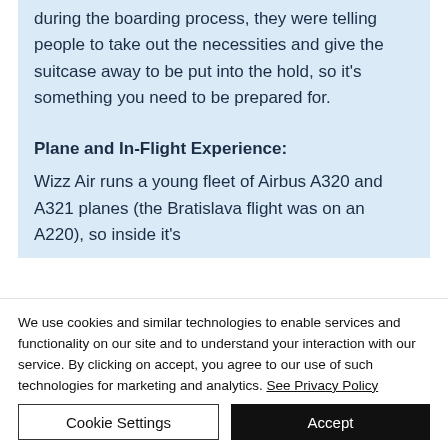during the boarding process, they were telling people to take out the necessities and give the suitcase away to be put into the hold, so it's something you need to be prepared for.
Plane and In-Flight Experience:
Wizz Air runs a young fleet of Airbus A320 and A321 planes (the Bratislava flight was on an A320), so inside it's
We use cookies and similar technologies to enable services and functionality on our site and to understand your interaction with our service. By clicking on accept, you agree to our use of such technologies for marketing and analytics. See Privacy Policy
Cookie Settings
Accept